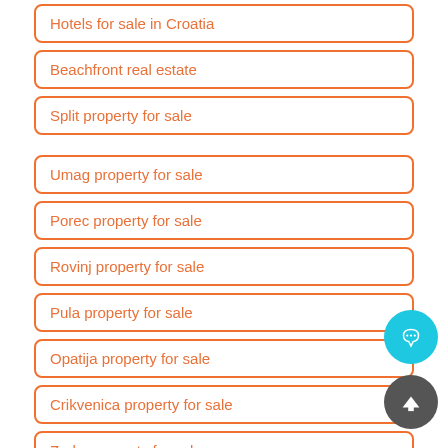Hotels for sale in Croatia
Beachfront real estate
Split property for sale
Umag property for sale
Porec property for sale
Rovinj property for sale
Pula property for sale
Opatija property for sale
Crikvenica property for sale
Zadar property for sale